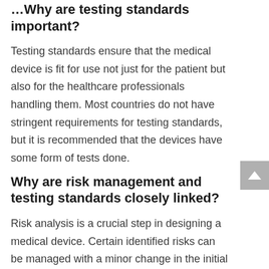Why are testing standards important?
Testing standards ensure that the medical device is fit for use not just for the patient but also for the healthcare professionals handling them. Most countries do not have stringent requirements for testing standards, but it is recommended that the devices have some form of tests done.
Why are risk management and testing standards closely linked?
Risk analysis is a crucial step in designing a medical device. Certain identified risks can be managed with a minor change in the initial stage of the manufacturing and then...